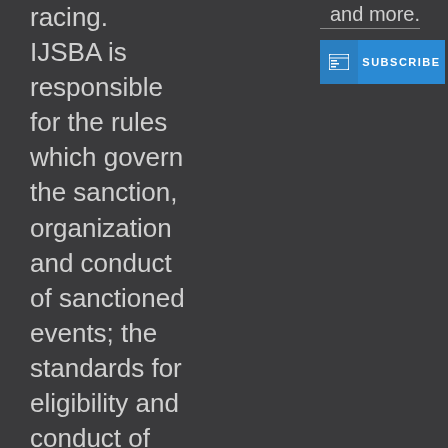racing. IJSBA is responsible for the rules which govern the sanction, organization and conduct of sanctioned events; the standards for eligibility and conduct of competition and officials; the regulations for eligibility and
and more.
[Figure (other): Subscribe button with icon]